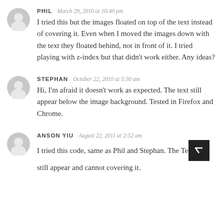PHIL   March 29, 2010 at 10:49 pm
I tried this but the images floated on top of the text instead of covering it. Even when I moved the images down with the text they floated behind, not in front of it. I tried playing with z-index but that didn't work either. Any ideas?
STEPHAN   October 22, 2010 at 5:30 am
Hi, I'm afraid it doesn't work as expected. The text still appear below the image background. Tested in Firefox and Chrome.
ANSON YIU   August 22, 2011 at 2:52 am
I tried this code, same as Phil and Stephan. The Te still appear and cannot covering it.